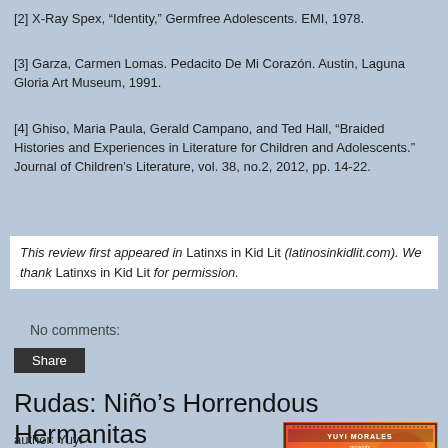[2] X-Ray Spex, “Identity,” Germfree Adolescents. EMI, 1978.
[3] Garza, Carmen Lomas. Pedacito De Mi Corazón. Austin, Laguna Gloria Art Museum, 1991.
[4] Ghiso, Maria Paula, Gerald Campano, and Ted Hall, “Braided Histories and Experiences in Literature for Children and Adolescents.” Journal of Children’s Literature, vol. 38, no.2, 2012, pp. 14-22.
This review first appeared in Latinxs in Kid Lit (latinosinkidlit.com). We thank Latinxs in Kid Lit for permission.
No comments:
Share
Rudas: Niño’s Horrendous Hermanitas
author: Yuyi Morales
illustrator: Yuyi
[Figure (illustration): Book cover of Rudas: Niño's Horrendous Hermanitas by Yuyi Morales, showing colorful red and orange design with YUYI MORALES presents text at top and stars]